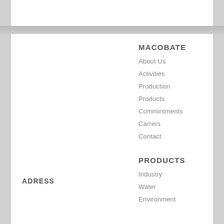MACOBATE
About Us
Activities
Production
Products
Commintments
Carrers
Contact
PRODUCTS
Industry
Water
Environment
ADRESS